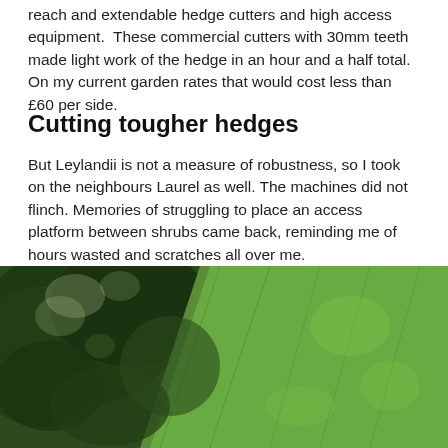reach and extendable hedge cutters and high access equipment.  These commercial cutters with 30mm teeth made light work of the hedge in an hour and a half total. On my current garden rates that would cost less than £60 per side.
Cutting tougher hedges
But Leylandii is not a measure of robustness, so I took on the neighbours Laurel as well. The machines did not flinch. Memories of struggling to place an access platform between shrubs came back, reminding me of hours wasted and scratches all over me.
[Figure (photo): Photograph of a large green hedge, showing a neatly trimmed conical/tapered hedge on the right side and overgrown tree foliage on the left side, taken outdoors.]